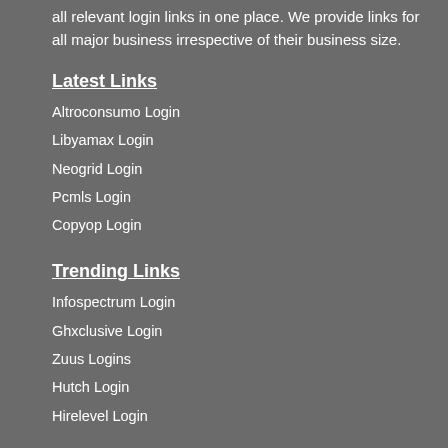all relevant login links in one place. We provide links for all major business irrespective of their business size.
Latest Links
Altroconsumo Login
Libyamax Login
Neogrid Login
Pcmls Login
Copyop Login
Trending Links
Infospectrum Login
Ghxclusive Login
Zuus Logins
Hutch Login
Hirelevel Login
Most visited links